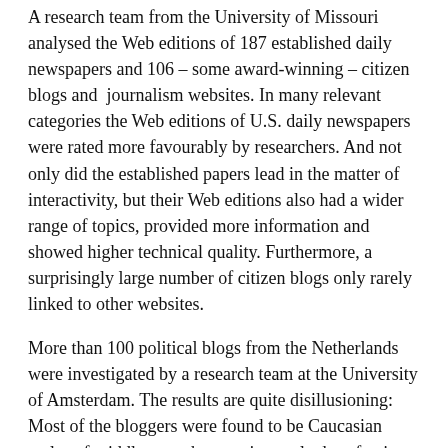A research team from the University of Missouri analysed the Web editions of 187 established daily newspapers and 106 – some award-winning – citizen blogs and journalism websites. In many relevant categories the Web editions of U.S. daily newspapers were rated more favourably by researchers. And not only did the established papers lead in the matter of interactivity, but their Web editions also had a wider range of topics, provided more information and showed higher technical quality. Furthermore, a surprisingly large number of citizen blogs only rarely linked to other websites.
More than 100 political blogs from the Netherlands were investigated by a research team at the University of Amsterdam. The results are quite disillusioning: Most of the bloggers were found to be Caucasian males of middle age who practice exalted professions. It seems the blogosphere's power to diversify political discourse is somewhat exaggerated.